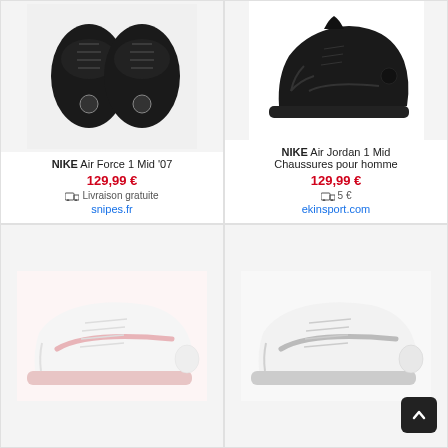[Figure (photo): Top-down view of black Nike Air Force 1 Mid '07 sneakers on grey background]
NIKE Air Force 1 Mid '07
129,99 €
Livraison gratuite
snipes.fr
[Figure (photo): Side view of black Nike Air Jordan 1 Mid sneaker on white background]
NIKE Air Jordan 1 Mid Chaussures pour homme
129,99 €
5 €
ekinsport.com
[Figure (photo): Side view of white Nike Air Force 1 sneaker with pink swoosh on white/pink background]
[Figure (photo): Side view of white/grey Nike Air Force 1 sneaker on white background]